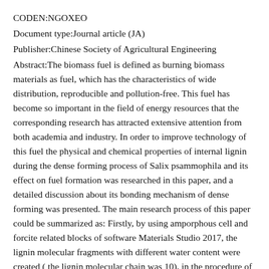CODEN:NGOXEO
Document type:Journal article (JA)
Publisher:Chinese Society of Agricultural Engineering
Abstract:The biomass fuel is defined as burning biomass materials as fuel, which has the characteristics of wide distribution, reproducible and pollution-free. This fuel has become so important in the field of energy resources that the corresponding research has attracted extensive attention from both academia and industry. In order to improve technology of this fuel the physical and chemical properties of internal lignin during the dense forming process of Salix psammophila and its effect on fuel formation was researched in this paper, and a detailed discussion about its bonding mechanism of dense forming was presented. The main research process of this paper could be summarized as: Firstly, by using amporphous cell and forcite related blocks of software Materials Studio 2017, the lignin molecular fragments with different water content were created ( the lignin molecular chain was 10), in the procedure of creation, the initial temperature was 298 K, the pressure was standard atmospheric pressure, and the number of configuration was 2; Furthermore, in conditions of different moisture contents, pressures and